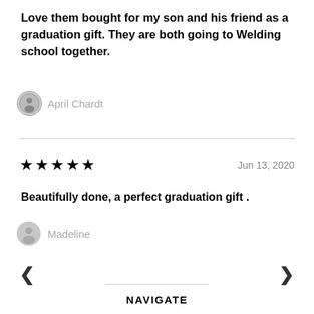Love them bought for my son and his friend as a graduation gift. They are both going to Welding school together.
April Chardt
★★★★★   Jun 13, 2020
Beautifully done, a perfect graduation gift .
Madeline
NAVIGATE